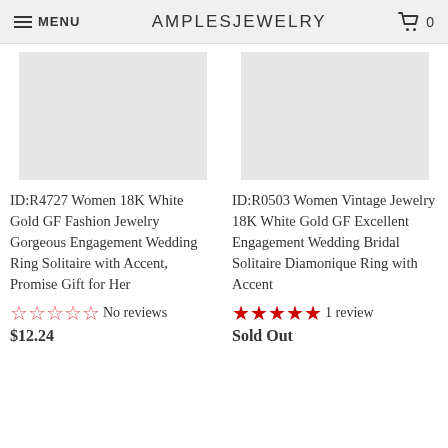MENU   AMPLESJEWELRY   0
[Figure (photo): Product image placeholder for Women 18K White Gold GF Fashion Jewelry ring (grey rectangle)]
ID:R4727 Women 18K White Gold GF Fashion Jewelry Gorgeous Engagement Wedding Ring Solitaire with Accent, Promise Gift for Her
No reviews
$12.24
[Figure (photo): Product image placeholder for Women Vintage Jewelry 18K White Gold GF ring (grey rectangle)]
ID:R0503 Women Vintage Jewelry 18K White Gold GF Excellent Engagement Wedding Bridal Solitaire Diamonique Ring with Accent
1 review
Sold Out